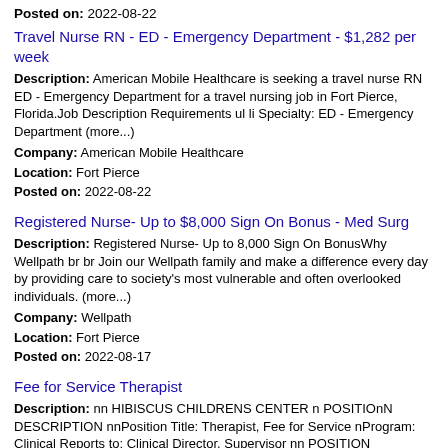Posted on: 2022-08-22
Travel Nurse RN - ED - Emergency Department - $1,282 per week
Description: American Mobile Healthcare is seeking a travel nurse RN ED - Emergency Department for a travel nursing job in Fort Pierce, Florida.Job Description Requirements ul li Specialty: ED - Emergency Department (more...)
Company: American Mobile Healthcare
Location: Fort Pierce
Posted on: 2022-08-22
Registered Nurse- Up to $8,000 Sign On Bonus - Med Surg
Description: Registered Nurse- Up to 8,000 Sign On BonusWhy Wellpath br br Join our Wellpath family and make a difference every day by providing care to society's most vulnerable and often overlooked individuals. (more...)
Company: Wellpath
Location: Fort Pierce
Posted on: 2022-08-17
Fee for Service Therapist
Description: nn HIBISCUS CHILDRENS CENTER n POSITIOnN DESCRIPTION nnPosition Title: Therapist, Fee for Service nProgram: Clinical Reports to: Clinical Director, Supervisor nn POSITION FUNCTION/OVERVIEW: nThis position (more...)